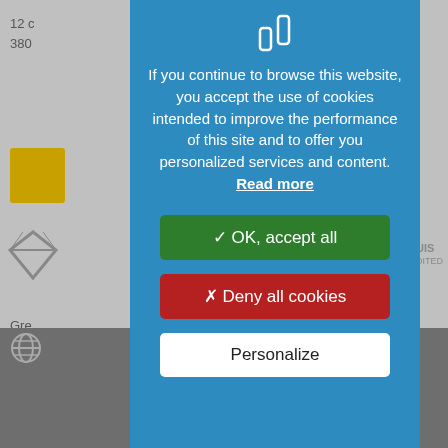[Figure (screenshot): Background website screenshot showing partial content including text '12', '380', a gold bar element, diamond logo, 'UIS' text, 'Gre' text, www icon on a grey background.]
If you continue to browse this website, you accept the use of cookies intended to improve the performance of this site and to offer you personalized services and content. Read more
✓ OK, accept all
✗ Deny all cookies
Personalize